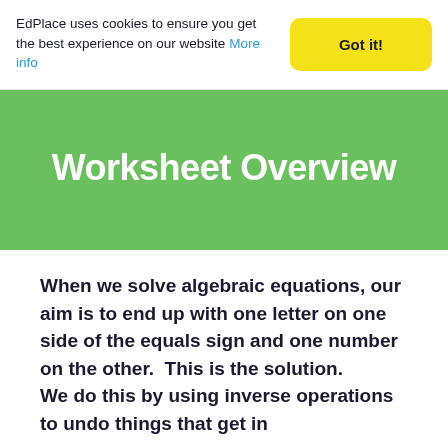EdPlace uses cookies to ensure you get the best experience on our website More info
Worksheet Overview
When we solve algebraic equations, our aim is to end up with one letter on one side of the equals sign and one number on the other.  This is the solution.
We do this by using inverse operations to undo things that get in